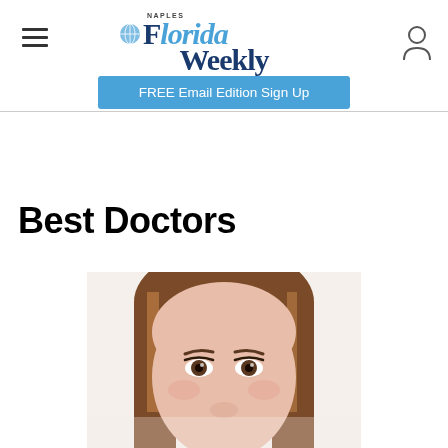Naples Florida Weekly — IN THE KNOW. IN THE NOW.
FREE Email Edition Sign Up
Best Doctors
[Figure (photo): Close-up photo of a woman with brown hair, showing face from forehead to just below nose, white background.]